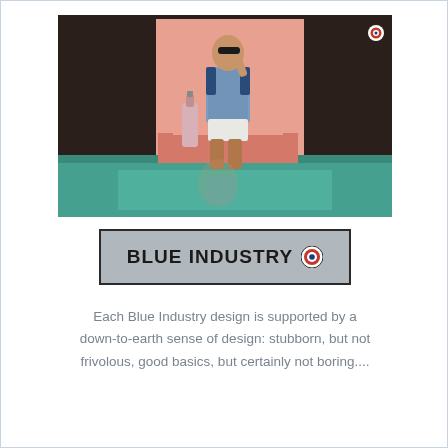[Figure (photo): Fashion advertisement photo: man wearing a blue patterned polo shirt and white shorts, seated on a pink block/chair, feet in turquoise water, holding sunglasses, with a wine bottle beside him. Dark background with pink square backdrop. 'BLUE INDUSTRY' watermark text vertically in top right corner.]
[Figure (logo): Blue Industry brand logo in a grey rectangle with dark border: bold text 'BLUE INDUSTRY' with a target/bullseye icon in red, white, and blue on the right.]
Each Blue Industry design is supported by a down-to-earth sense of design: stubborn, but not frivolous, good basics, but certainly not boring....